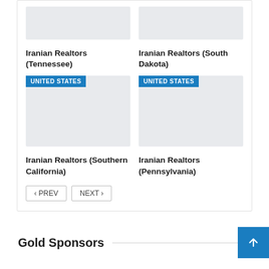[Figure (screenshot): Card image placeholder top-left - grey rectangle]
[Figure (screenshot): Card image placeholder top-right - grey rectangle]
Iranian Realtors (Tennessee)
Iranian Realtors (South Dakota)
[Figure (screenshot): Card image placeholder with UNITED STATES badge - left]
[Figure (screenshot): Card image placeholder with UNITED STATES badge - right]
Iranian Realtors (Southern California)
Iranian Realtors (Pennsylvania)
‹ PREV   NEXT ›
Gold Sponsors